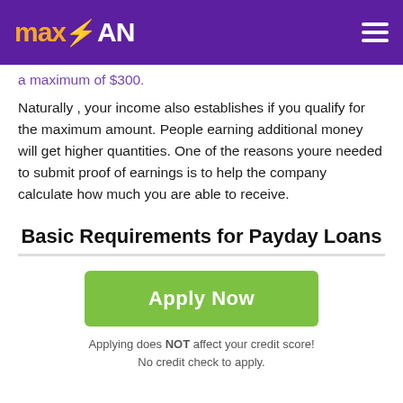maxLOAN
a maximum of $300.
Naturally , your income also establishes if you qualify for the maximum amount. People earning additional money will get higher quantities. One of the reasons youre needed to submit proof of earnings is to help the company calculate how much you are able to receive.
Basic Requirements for Payday Loans
[Figure (other): Green Apply Now button]
Applying does NOT affect your credit score!
No credit check to apply.